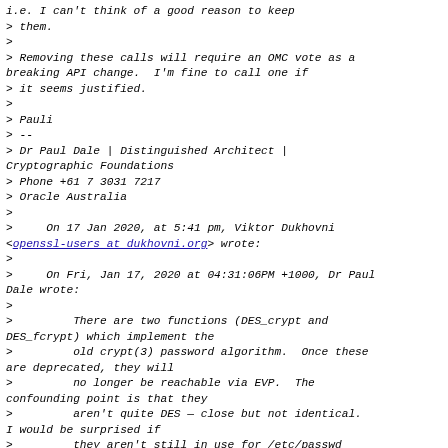i.e. I can't think of a good reason to keep them.
>
> Removing these calls will require an OMC vote as a breaking API change.  I'm fine to call one if it seems justified.
>
> Pauli
> --
> Dr Paul Dale | Distinguished Architect | Cryptographic Foundations
> Phone +61 7 3031 7217
> Oracle Australia
>
>     On 17 Jan 2020, at 5:41 pm, Viktor Dukhovni <openssl-users at dukhovni.org> wrote:
>
>     On Fri, Jan 17, 2020 at 04:31:06PM +1000, Dr Paul Dale wrote:
>
>         There are two functions (DES_crypt and DES_fcrypt) which implement the
>         old crypt(3) password algorithm.  Once these are deprecated, they will
>         no longer be reachable via EVP.  The confounding point is that they
>         aren't quite DES — close but not identical. I would be surprised if
>         they aren't still in use for /etc/passwd files on old and/or embedded